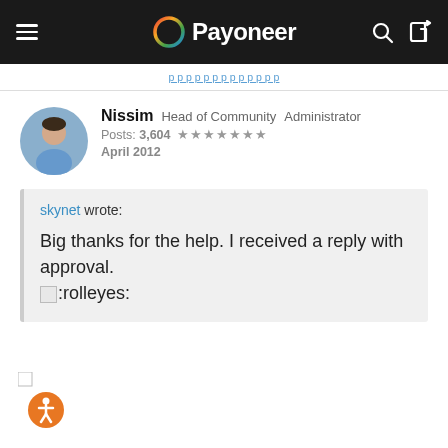Payoneer
Nissim  Head of Community  Administrator
Posts: 3,604  ★★★★★★★
April 2012
skynet wrote:

Big thanks for the help. I received a reply with approval.
[image]:rolleyes:
[Figure (illustration): Accessibility icon button — orange circle with white person/human figure symbol]